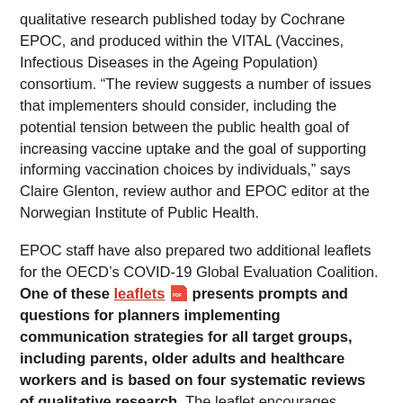qualitative research published today by Cochrane EPOC, and produced within the VITAL (Vaccines, Infectious Diseases in the Ageing Population) consortium. “The review suggests a number of issues that implementers should consider, including the potential tension between the public health goal of increasing vaccine uptake and the goal of supporting informing vaccination choices by individuals,” says Claire Glenton, review author and EPOC editor at the Norwegian Institute of Public Health.
EPOC staff have also prepared two additional leaflets for the OECD’s COVID-19 Global Evaluation Coalition. One of these leaflets [PDF icon] presents prompts and questions for planners implementing communication strategies for all target groups, including parents, older adults and healthcare workers and is based on four systematic reviews of qualitative research. The leaflet encourages planners to consider a range of factors, including people’s concerns and misconceptions about the disease and the vaccine; and the extent to which the information they are providing is